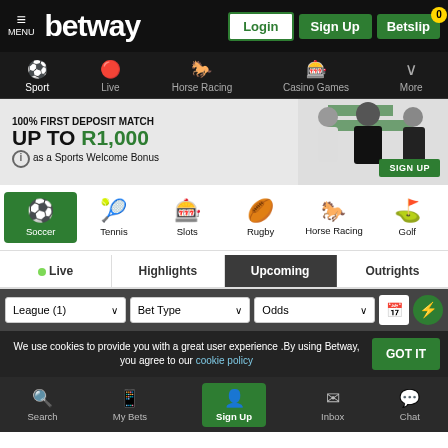[Figure (screenshot): Betway sports betting website screenshot showing top navigation bar with Menu, Betway logo, Login, Sign Up, and Betslip buttons]
betway | Login | Sign Up | Betslip 0
Sport | Live | Horse Racing | Casino Games | More
100% FIRST DEPOSIT MATCH UP TO R1,000 as a Sports Welcome Bonus | SIGN UP
Soccer | Tennis | Slots | Rugby | Horse Racing | Golf
Live | Highlights | Upcoming | Outrights
League (1) | Bet Type | Odds
We use cookies to provide you with a great user experience .By using Betway, you agree to our cookie policy
Search | My Bets | Sign Up | Inbox | Chat